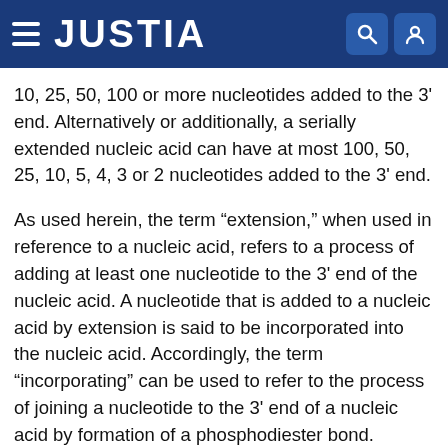JUSTIA
10, 25, 50, 100 or more nucleotides added to the 3' end. Alternatively or additionally, a serially extended nucleic acid can have at most 100, 50, 25, 10, 5, 4, 3 or 2 nucleotides added to the 3' end.
As used herein, the term “extension,” when used in reference to a nucleic acid, refers to a process of adding at least one nucleotide to the 3' end of the nucleic acid. A nucleotide that is added to a nucleic acid by extension is said to be incorporated into the nucleic acid. Accordingly, the term “incorporating” can be used to refer to the process of joining a nucleotide to the 3' end of a nucleic acid by formation of a phosphodiester bond.
As used herein, the term “feature” means a location in an array where a particular molecule is present. A feature can contain only a single molecule or it can